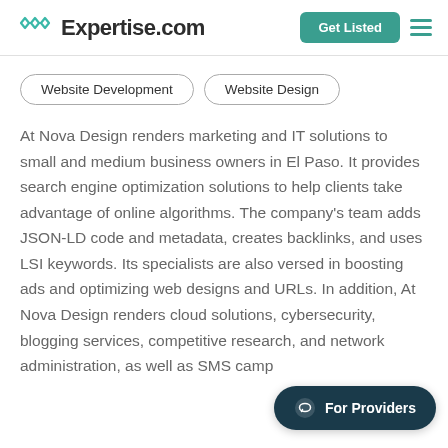Expertise.com
Website Development
Website Design
At Nova Design renders marketing and IT solutions to small and medium business owners in El Paso. It provides search engine optimization solutions to help clients take advantage of online algorithms. The company's team adds JSON-LD code and metadata, creates backlinks, and uses LSI keywords. Its specialists are also versed in boosting ads and optimizing web designs and URLs. In addition, At Nova Design renders cloud solutions, cybersecurity, blogging services, competitive research, and network administration, as well as SMS camp